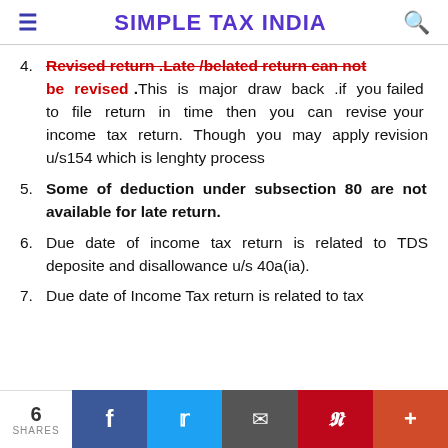SIMPLE TAX INDIA
4. Revised return .Late /belated return can not be revised .This is major draw back .if you failed to file return in time then you can revise your income tax return. Though you may apply revision u/s154 which is lenghty process
5. Some of deduction under subsection 80 are not available for late return.
6. Due date of income tax return is related to TDS deposite and disallowance u/s 40a(ia).
7. Due date of Income Tax return is related to tax
6 SHARES